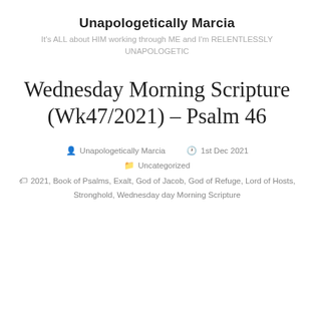Unapologetically Marcia
It’s ALL about HIM working through ME and I’m RELENTLESSLY UNAPOLOGETIC
Wednesday Morning Scripture (Wk47/2021) – Psalm 46
Unapologetically Marcia   1st Dec 2021   Uncategorized
2021, Book of Psalms, Exalt, God of Jacob, God of Refuge, Lord of Hosts, Stronghold, Wednesday day Morning Scripture